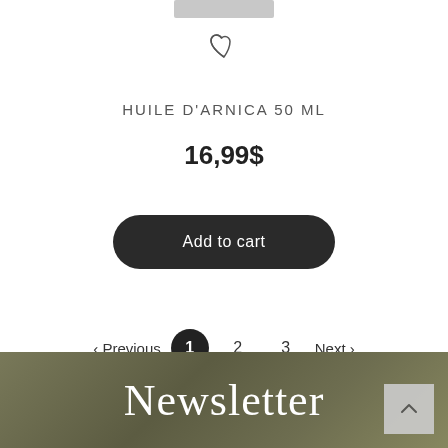[Figure (photo): Partial product image at top of card (cropped, grey rectangle visible)]
[Figure (illustration): Heart/wishlist icon outline]
HUILE D'ARNICA 50 ML
16,99$
Add to cart
‹ Previous  1  2  3  Next ›
Newsletter